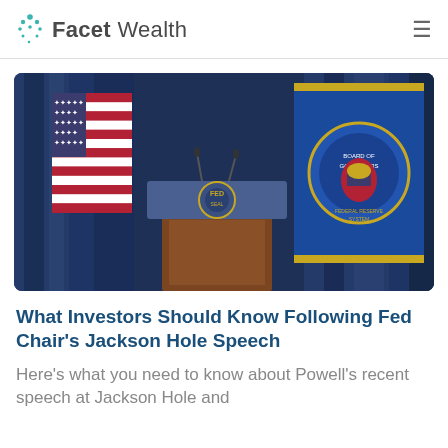Facet Wealth
[Figure (photo): Federal Reserve podium with official seal between an American flag and a Federal Reserve Board flag against dark blue curtain backdrop]
What Investors Should Know Following Fed Chair's Jackson Hole Speech
Here's what you need to know about Powell's recent speech at Jackson Hole and what it means for investors.